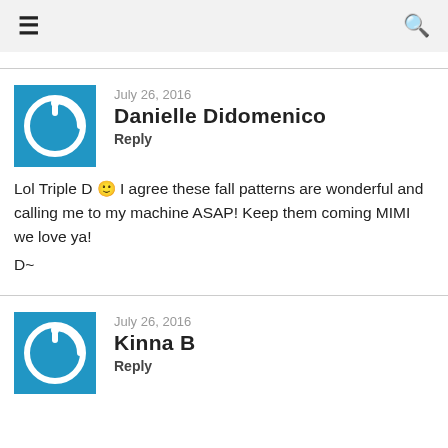≡  🔍
Danielle Didomenico
July 26, 2016
Reply
Lol Triple D 🙂 I agree these fall patterns are wonderful and calling me to my machine ASAP! Keep them coming MIMI we love ya!
D~
Kinna B
July 26, 2016
Reply